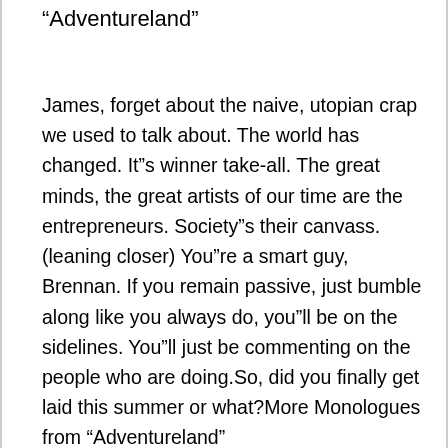“Adventureland”
James, forget about the naive, utopian crap we used to talk about. The world has changed. It”s winner take-all. The great minds, the great artists of our time are the entrepreneurs. Society”s their canvass. (leaning closer) You”re a smart guy, Brennan. If you remain passive, just bumble along like you always do, you”ll be on the sidelines. You”ll just be commenting on the people who are doing.So, did you finally get laid this summer or what?More Monologues from “Adventureland”